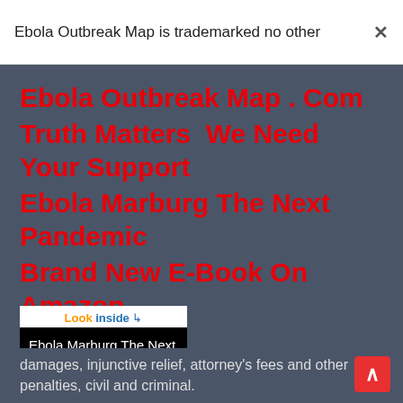Ebola Outbreak Map is trademarked no other  ×
Ebola Outbreak Map . Com
Truth Matters  We Need Your Support
Ebola Marburg The Next Pandemic
Brand New E-Book On Amazon
[Figure (photo): Book cover for 'Ebola Marburg The Next Pandemic - Ebola Outbreak Map . Com' by JACOB JOSEPH, showing black cover with white text and a 'Look inside' button at top]
damages, injunctive relief, attorney's fees and other penalties, civil and criminal.